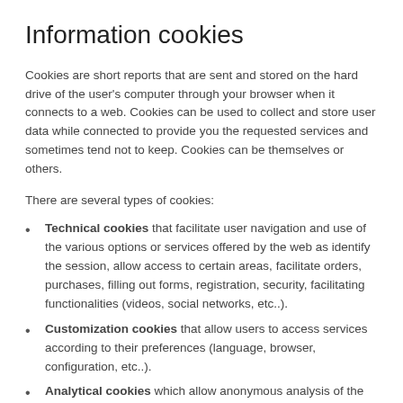Information cookies
Cookies are short reports that are sent and stored on the hard drive of the user's computer through your browser when it connects to a web. Cookies can be used to collect and store user data while connected to provide you the requested services and sometimes tend not to keep. Cookies can be themselves or others.
There are several types of cookies:
Technical cookies that facilitate user navigation and use of the various options or services offered by the web as identify the session, allow access to certain areas, facilitate orders, purchases, filling out forms, registration, security, facilitating functionalities (videos, social networks, etc..).
Customization cookies that allow users to access services according to their preferences (language, browser, configuration, etc..).
Analytical cookies which allow anonymous analysis of the behavior of web users and allow to measure user...